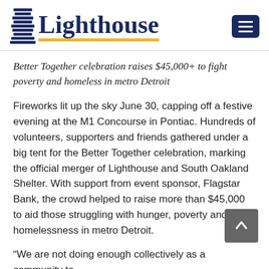Lighthouse
Better Together celebration raises $45,000+ to fight poverty and homeless in metro Detroit
Fireworks lit up the sky June 30, capping off a festive evening at the M1 Concourse in Pontiac. Hundreds of volunteers, supporters and friends gathered under a big tent for the Better Together celebration, marking the official merger of Lighthouse and South Oakland Shelter. With support from event sponsor, Flagstar Bank, the crowd helped to raise more than $45,000 to aid those struggling with hunger, poverty and homelessness in metro Detroit.
“We are not doing enough collectively as a community to